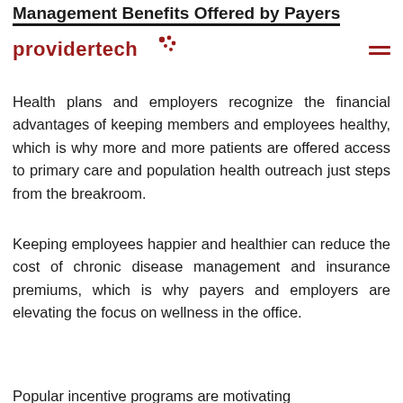Management Benefits Offered by Payers
[Figure (logo): Providertech logo in dark red with asterisk/dot cluster graphic]
Health plans and employers recognize the financial advantages of keeping members and employees healthy, which is why more and more patients are offered access to primary care and population health outreach just steps from the breakroom.
Keeping employees happier and healthier can reduce the cost of chronic disease management and insurance premiums, which is why payers and employers are elevating the focus on wellness in the office.
Popular incentive programs are motivating